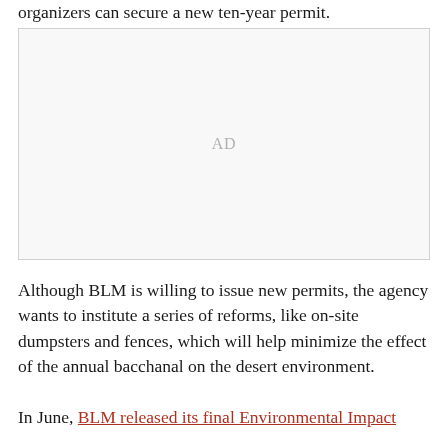organizers can secure a new ten-year permit.
[Figure (other): Advertisement placeholder box with 'AD' label centered]
Although BLM is willing to issue new permits, the agency wants to institute a series of reforms, like on-site dumpsters and fences, which will help minimize the effect of the annual bacchanal on the desert environment.
In June, BLM released its final Environmental Impact...